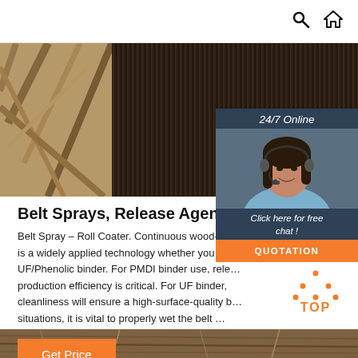Search | Home icons (navigation bar)
[Figure (photo): Hero image showing wood panels and wooden sticks/strips on left, dark striped wood grain texture on right]
[Figure (photo): 24/7 Online chat widget: dark blue panel with '24/7 Online' label, photo of smiling woman with headset, 'Click here for free chat!' text, orange QUOTATION button]
Belt Sprays, Release Agents, Mat
Belt Spray – Roll Coater. Continuous wood-pr… is a widely applied technology whether you us… UF/Phenolic binder. For PMDI binder use, rele… production efficiency is critical. For UF binder, cleanliness will ensure a high-surface-quality b… situations, it is vital to properly wet the belt …
[Figure (other): Orange 'Get Price' button]
[Figure (other): Orange 'TOP' back-to-top button with dotted triangle arrow icon]
[Figure (photo): Bottom strip image showing wood/grain material close-up]